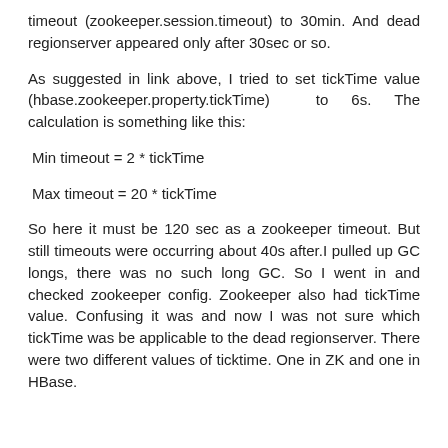timeout (zookeeper.session.timeout) to 30min. And dead regionserver appeared only after 30sec or so.
As suggested in link above, I tried to set tickTime value (hbase.zookeeper.property.tickTime) to 6s. The calculation is something like this:
So here it must be 120 sec as a zookeeper timeout. But still timeouts were occurring about 40s after.I pulled up GC longs, there was no such long GC. So I went in and checked zookeeper config. Zookeeper also had tickTime value. Confusing it was and now I was not sure which tickTime was be applicable to the dead regionserver. There were two different values of ticktime. One in ZK and one in HBase.